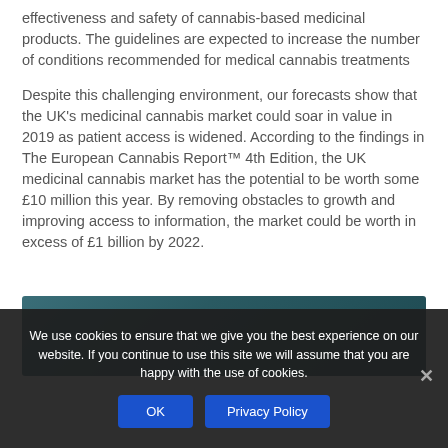effectiveness and safety of cannabis-based medicinal products. The guidelines are expected to increase the number of conditions recommended for medical cannabis treatments
Despite this challenging environment, our forecasts show that the UK's medicinal cannabis market could soar in value in 2019 as patient access is widened. According to the findings in The European Cannabis Report™ 4th Edition, the UK medicinal cannabis market has the potential to be worth some £10 million this year. By removing obstacles to growth and improving access to information, the market could be worth in excess of £1 billion by 2022.
[Figure (other): Teal/dark green decorative background box, partially visible, likely header or chart background area]
We use cookies to ensure that we give you the best experience on our website. If you continue to use this site we will assume that you are happy with the use of cookies.